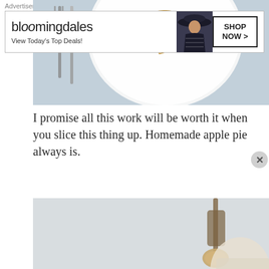[Figure (photo): Overhead view of a slice of apple pie on a white plate with utensils (fork and knife), light blue-gray background]
I promise all this work will be worth it when you slice this thing up. Homemade apple pie always is.
[Figure (photo): Close-up of a slice of apple pie with whipped cream on a white plate, a green apple visible to the right, a decorative spoon above, warm golden-brown crust]
Advertisements
[Figure (other): Bloomingdales advertisement banner: 'bloomingdales View Today's Top Deals!' with woman in hat and 'SHOP NOW >' button]